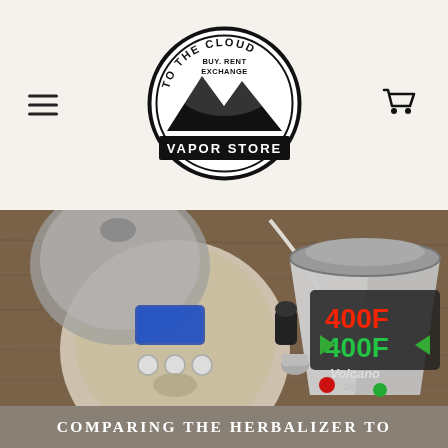[Figure (logo): To The Cloud Vapor Store circular logo — black and white with mountain imagery and text 'TO THE CLOUD BUY. RENT EXCHANGE VAPOR STORE']
[Figure (photo): Overhead photo on wooden table showing a Herbalizer vaporizer (round, white/cream device with digital display) open with lid, and a Volcano Digit vaporizer (silver conical device) with red/green LED display showing 400F, along with accessories.]
COMPARING THE HERBALIZER TO